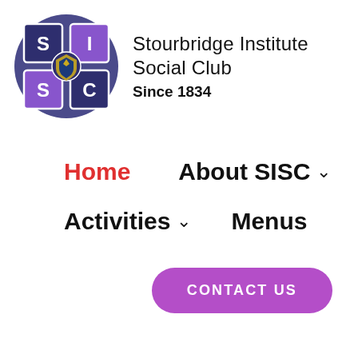[Figure (logo): Stourbridge Institute Social Club circular logo with purple/dark blue background, four quadrants with letters S, I, S, C and a central shield crest]
Stourbridge Institute Social Club Since 1834
Home
About SISC ˅
Activities ˅
Menus
CONTACT US